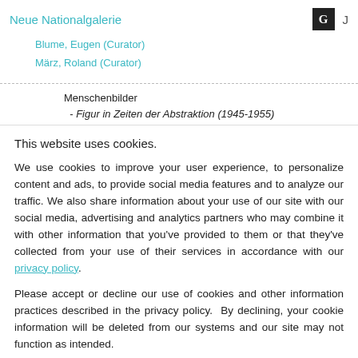Neue Nationalgalerie
Blume, Eugen (Curator)
März, Roland (Curator)
Menschenbilder
 - Figur in Zeiten der Abstraktion (1945-1955)
This website uses cookies.
We use cookies to improve your user experience, to personalize content and ads, to provide social media features and to analyze our traffic. We also share information about your use of our site with our social media, advertising and analytics partners who may combine it with other information that you've provided to them or that they've collected from your use of their services in accordance with our privacy policy.
Please accept or decline our use of cookies and other information practices described in the privacy policy.  By declining, your cookie information will be deleted from our systems and our site may not function as intended.